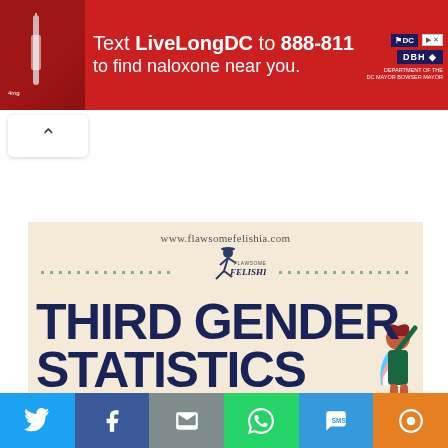[Figure (infographic): Red advertisement banner: Text LiveLongDC to 888-811 to find naloxone near you. DC government health department logos on the right.]
[Figure (infographic): Flawsome Felishia infographic section: www.flawsomefelishia.com URL, brand logo with dancing figure, dotted lines on either side, large bold dark navy text reading THIRD GENDER STATISTICS, and a person illustration with transgender flag colors on the right.]
[Figure (infographic): Social sharing bar at the bottom with Twitter, Facebook, Email, WhatsApp, SMS, and More buttons.]